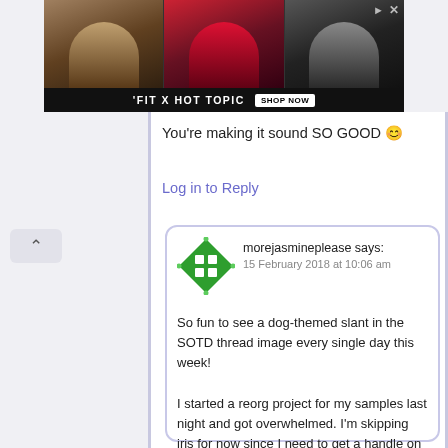[Figure (screenshot): Advertisement banner for 'FIT X HOT TOPIC' showing three young people (two male, one female) with a 'SHOP NOW' button. Arrow/close icons visible in top right.]
You're making it sound SO GOOD 😀
Log in to Reply
[Figure (illustration): Green diamond-shaped avatar icon with a 2x2 grid pattern inside, for user 'morejasmineplease']
morejasmineplease says:
15 February 2018 at 10:06 am
So fun to see a dog-themed slant in the SOTD thread image every single day this week!

I started a reorg project for my samples last night and got overwhelmed. I'm skipping iris for now since I need to get a handle on these multiple piles o' vials. Starting the day in CB IHP Cradle of Light.